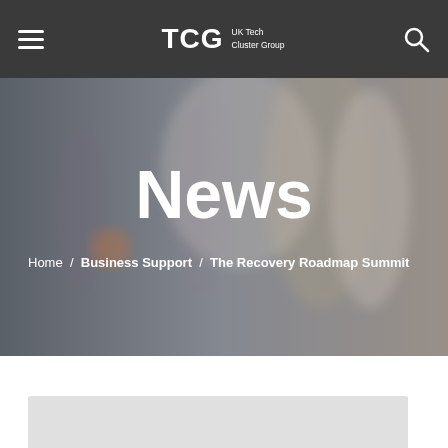TCG UK Tech Cluster Group
News
Home / Business Support / The Recovery Roadmap Summit
[Figure (screenshot): Gray card/panel at the bottom of the page, partially visible]